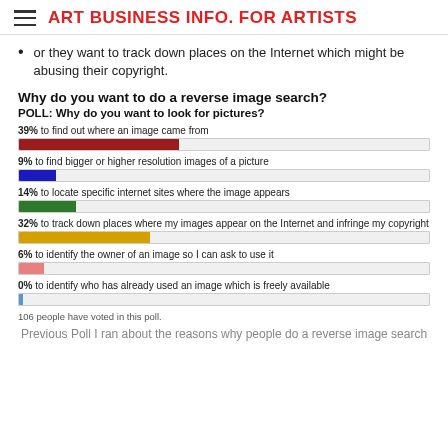ART BUSINESS INFO. FOR ARTISTS
or they want to track down places on the Internet which might be abusing their copyright.
Why do you want to do a reverse image search?
POLL: Why do you want to look for pictures?
[Figure (bar-chart): POLL: Why do you want to look for pictures?]
106 people have voted in this poll.
Previous Poll I ran about the reasons why people do a reverse image search